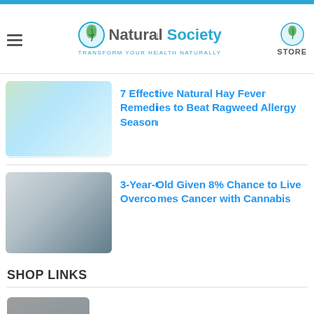Natural Society — Transform your health naturally | STORE
7 Effective Natural Hay Fever Remedies to Beat Ragweed Allergy Season
3-Year-Old Given 8% Chance to Live Overcomes Cancer with Cannabis
SHOP LINKS
USDA Organic 40 Days Storeable Food